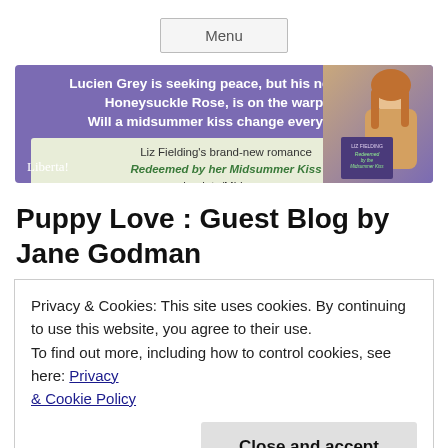Menu
[Figure (illustration): Purple banner ad for Liz Fielding's romance novel 'Redeemed by her Midsummer Kiss'. Text: Lucien Grey is seeking peace, but his neighbour, Honeysuckle Rose, is on the warpath. Will a midsummer kiss change everything? Liz Fielding's brand-new romance. mybook.to/Midsummer. Shows book cover and woman's photo on right. Liberta! logo bottom left.]
Puppy Love : Guest Blog by Jane Godman
Privacy & Cookies: This site uses cookies. By continuing to use this website, you agree to their use.
To find out more, including how to control cookies, see here: Privacy & Cookie Policy
Close and accept
new guest, the winner